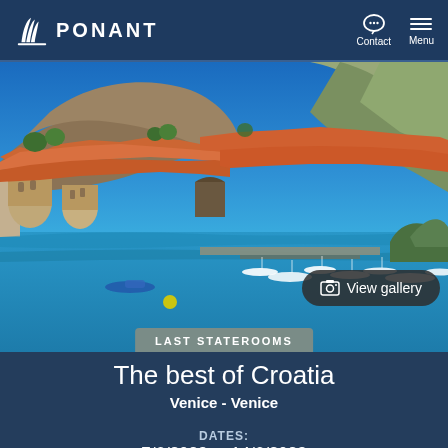PONANT — Contact  Menu
[Figure (photo): Aerial photo of Dubrovnik, Croatia, showing the old town with orange rooftops, city walls, a harbour with boats, and limestone cliffs under a bright blue sky. A 'View gallery' button overlaid. A 'LAST STATEROOMS' badge at the bottom.]
The best of Croatia
Venice - Venice
DATES:
7/6/2023 to 14/6/2023
Other available dates